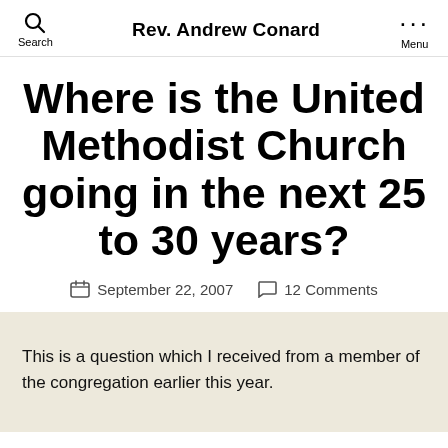Rev. Andrew Conard
Where is the United Methodist Church going in the next 25 to 30 years?
September 22, 2007   12 Comments
This is a question which I received from a member of the congregation earlier this year.